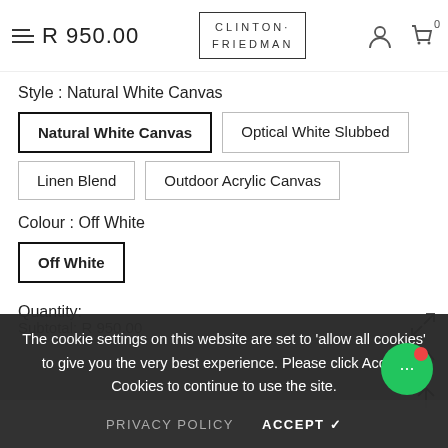R 950.00 | CLINTON FRIEDMAN
Style : Natural White Canvas
Natural White Canvas | Optical White Slubbed
Linen Blend | Outdoor Acrylic Canvas
Colour : Off White
Off White
Quantity:
Subtotal: R 950.00
The cookie settings on this website are set to 'allow all cookies' to give you the very best experience. Please click Accept Cookies to continue to use the site.
PRIVACY POLICY   ACCEPT ✓